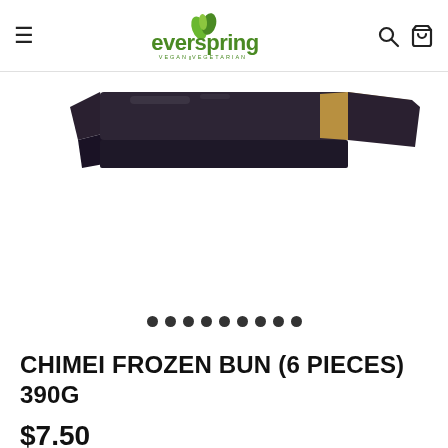everspring VEGAN VEGETARIAN
[Figure (photo): Partial view of a frozen food package (Chimei Frozen Bun) showing the top edge of the packaging with dark and tan/gold colored design]
● ● ● ● ● ● ● ● ● (image carousel dots)
CHIMEI FROZEN BUN (6 PIECES) 390G
$7.50